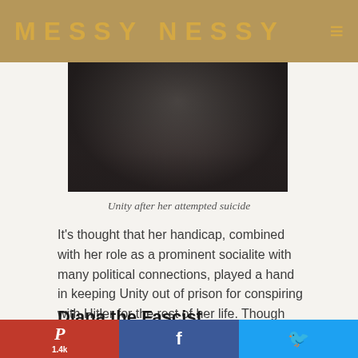MESSY NESSY
[Figure (photo): Black and white photograph, partially visible, dark tones showing a figure]
Unity after her attempted suicide
It's thought that her handicap, combined with her role as a prominent socialite with many political connections, played a hand in keeping Unity out of prison for conspiring with Hitler for the rest of her life. Though her time was cut short, her story became one of the most haunting of the bunch, and set the tone for the quarrels to come…
Diana the Fascist
Pinterest 1.4k | Facebook | Twitter